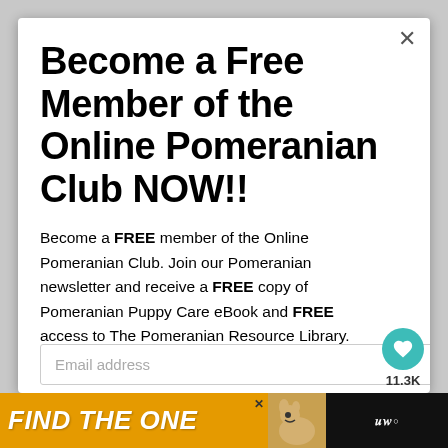Become a Free Member of the Online Pomeranian Club NOW!!
Become a FREE member of the Online Pomeranian Club. Join our Pomeranian newsletter and receive a FREE copy of Pomeranian Puppy Care eBook and FREE access to The Pomeranian Resource Library.
Email address
[Figure (screenshot): Ad banner at bottom: yellow background with text FIND THE ONE, dog image, close button, and dark right section with wordmark]
[Figure (infographic): Teal circular heart button with count 11.3K and share button overlay on right side]